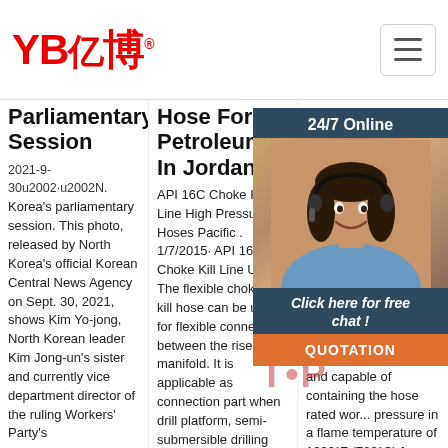YB亿博 — navigation header with hamburger menu
Parliamentary Session
2021-9-30u2002·u2002N. Korea's parliamentary session. This photo, released by North Korea's official Korean Central News Agency on Sept. 30, 2021, shows Kim Yo-jong, North Korean leader Kim Jong-un's sister and currently vice department director of the ruling Workers' Party's
Hose For Petroleum In Jordan
API 16C Choke Kill Line High Pressure Hoses Pacific . 1/7/2015· API 16C Choke Kill Line Use: The flexible choke & kill hose can be used for flexible connection between the riser and manifold. It is applicable as connection part when drill platform, semi-submersible drilling vessel or drilling vessel
For Flexible Ho... Ba...
BOI... API... Hos... Spe... API... prev... idea... high... hyd... for ... control equipments, and capable of containing the hose rated work... pressure in a flame temperature of 1300°F (700°C) for
[Figure (photo): Customer service representative wearing headset, smiling, with 24/7 Online chat widget overlay in dark blue, and QUOTATION orange button below]